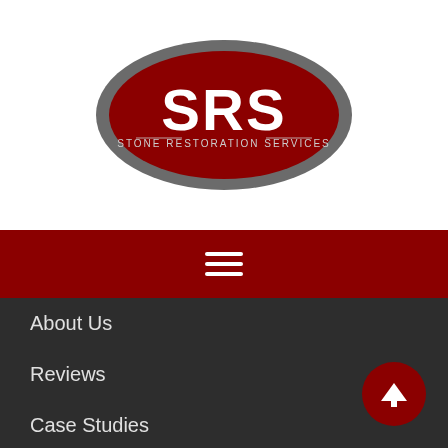[Figure (logo): SRS Stone Restoration Services oval logo — dark grey outer oval, red inner oval, white bold 'SRS' letters, small text 'STONE RESTORATION SERVICES' beneath]
[Figure (other): Hamburger menu icon — three white horizontal lines on dark red background navigation bar]
About Us
Reviews
Case Studies
Careers With Us
Services
STONE